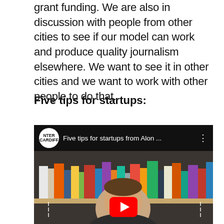grant funding. We are also in discussion with people from other cities to see if our model can work and produce quality journalism elsewhere. We want to see it in other cities and we want to work with other people to do that.
Five tips for startups:
[Figure (screenshot): YouTube video embed showing a person sitting in front of a bookshelf, with the video title 'Five tips for startups from Alon ...' in the top bar, a YouTube play button overlay at the bottom center, and the NTER CARDIFF logo circle on the left of the title bar.]